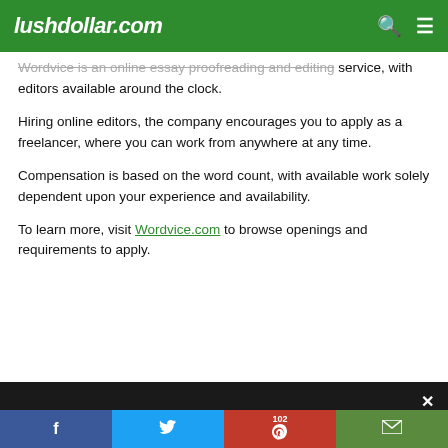lushdollar.com
Wordvice is an online essay proofreading and editing service, with editors available around the clock.
Hiring online editors, the company encourages you to apply as a freelancer, where you can work from anywhere at any time.
Compensation is based on the word count, with available work solely dependent upon your experience and availability.
To learn more, visit Wordvice.com to browse openings and requirements to apply.
We use cookies to ensure that we give you the best experience on our website. If you continue to use this site, we will assume that you are happy with it.
f  [twitter]  102 [pinterest]  [mail]